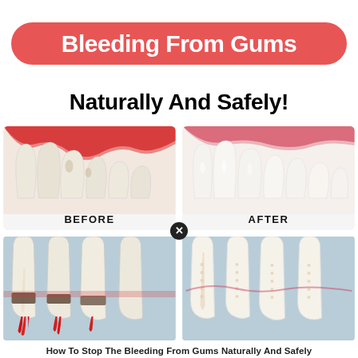Bleeding From Gums Naturally And Safely!
[Figure (illustration): Before and after comparison of gum health: top row shows inflamed red gums (BEFORE) and healthy gums (AFTER); bottom row shows cross-section of teeth with bleeding/infected gums on left and healthy tooth roots on right.]
How To Stop The Bleeding From Gums Naturally And Safely